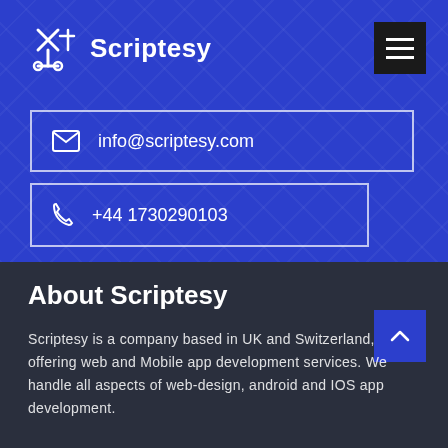[Figure (logo): Scriptesy logo with geometric scissors/circuit icon and white text 'Scriptesy']
info@scriptesy.com
+44 1730290103
About Scriptesy
Scriptesy is a company based in UK and Switzerland, offering web and Mobile app development services. We handle all aspects of web-design, android and IOS app development.